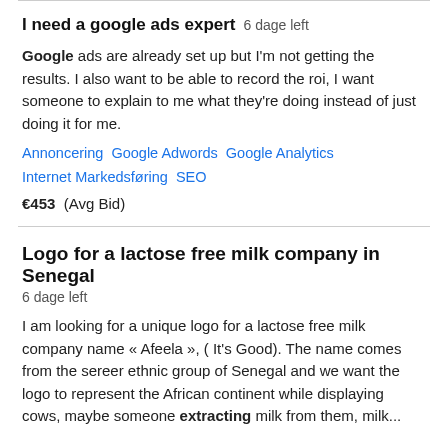I need a google ads expert  6 dage left
Google ads are already set up but I'm not getting the results. I also want to be able to record the roi, I want someone to explain to me what they're doing instead of just doing it for me.
Annoncering   Google Adwords   Google Analytics   Internet Markedsføring   SEO
€453  (Avg Bid)
Logo for a lactose free milk company in Senegal
6 dage left
I am looking for a unique logo for a lactose free milk company name « Afeela », ( It's Good). The name comes from the sereer ethnic group of Senegal and we want the logo to represent the African continent while displaying cows, maybe someone extracting milk from them, milk...